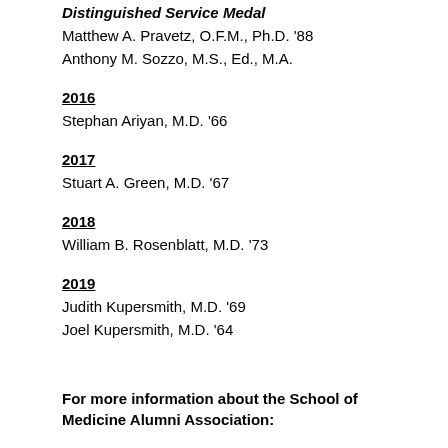Distinguished Service Medal
Matthew A. Pravetz, O.F.M., Ph.D. '88
Anthony M. Sozzo, M.S., Ed., M.A.
2016
Stephan Ariyan, M.D. '66
2017
Stuart A. Green, M.D. '67
2018
William B. Rosenblatt, M.D. '73
2019
Judith Kupersmith, M.D. '69
Joel Kupersmith, M.D. '64
For more information about the School of Medicine Alumni Association: